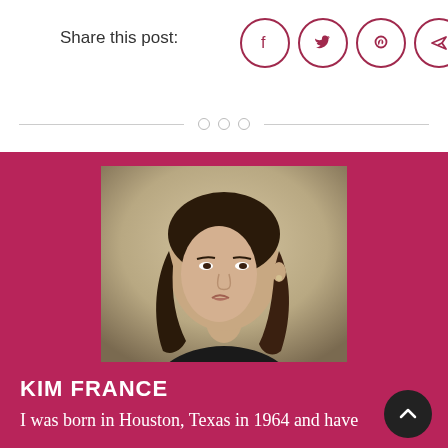Share this post:
[Figure (infographic): Social share icons: Facebook, Twitter, Pinterest, and a send/email icon, each in a circle with a dark red border]
[Figure (photo): Portrait photo of Kim France, a woman with brown hair, against a warm beige background]
KIM FRANCE
I was born in Houston, Texas in 1964 and have